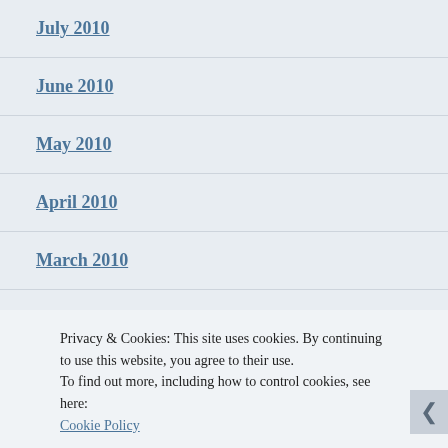July 2010
June 2010
May 2010
April 2010
March 2010
January 2010
Privacy & Cookies: This site uses cookies. By continuing to use this website, you agree to their use.
To find out more, including how to control cookies, see here:
Cookie Policy
Close and accept